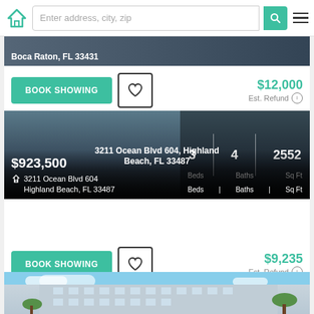[Figure (screenshot): Real estate app navigation bar with house logo, address search field, and hamburger menu]
Boca Raton, FL 33431
BOOK SHOWING
$12,000
Est. Refund
$923,500
3 Beds | 4 Baths | 2552 Sq Ft
3211 Ocean Blvd 604
Highland Beach, FL 33487
3211 Ocean Blvd 604, Highland Beach, FL 33487
BOOK SHOWING
$9,235
Est. Refund
[Figure (photo): Partial view of a condominium building with blue sky and palm trees]